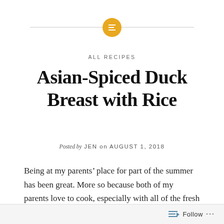[Figure (logo): Yellow/gold circular icon with white horizontal lines (list/menu icon), centered at top with grey horizontal separator line through it]
ALL RECIPES
Asian-Spiced Duck Breast with Rice
Posted by JEN on AUGUST 1, 2018
Being at my parents’ place for part of the summer has been great. More so because both of my parents love to cook, especially with all of the fresh ingredients that they can find around their local supermarkets, fish markets and farmers markets.
Follow ...